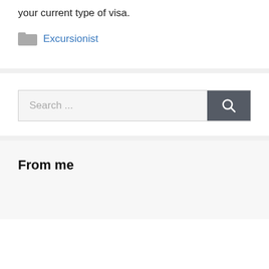your current type of visa.
Excursionist
[Figure (other): Search bar with text 'Search ...' and a dark grey search button with magnifying glass icon]
From me